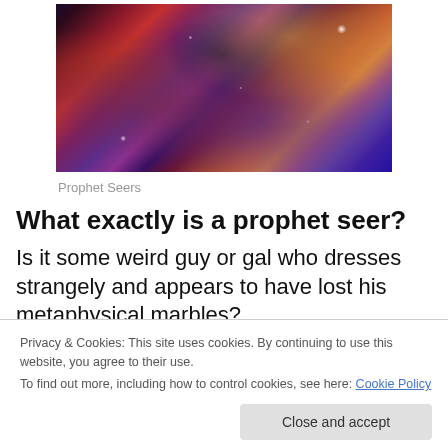[Figure (photo): A colorful nebula image with swirling clouds of red, purple, blue, and orange against a dark space background]
Prophet Seers
What exactly is a prophet seer?
Is it some weird guy or gal who dresses strangely and appears to have lost his metaphysical marbles?
Privacy & Cookies: This site uses cookies. By continuing to use this website, you agree to their use.
To find out more, including how to control cookies, see here: Cookie Policy
Thankfully, I believe the prophet seer to be neither.